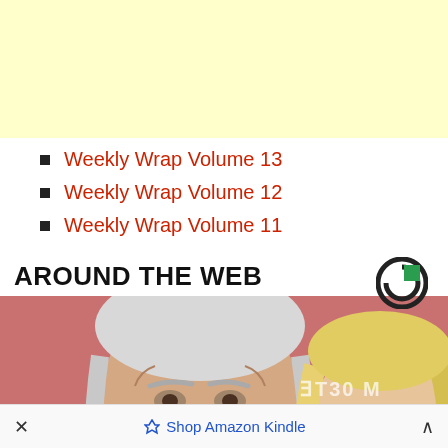[Figure (other): Yellow banner advertisement area at top of page]
Weekly Wrap Volume 13
Weekly Wrap Volume 12
Weekly Wrap Volume 11
AROUND THE WEB
[Figure (photo): Photo of an older man with white hair and beard next to a blonde woman, on a pink/red background with partial text visible]
× Shop Amazon Kindle ^